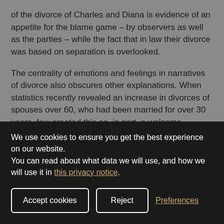of the divorce of Charles and Diana is evidence of an appetite for the blame game – by observers as well as the parties – while the fact that in law their divorce was based on separation is overlooked.
The centrality of emotions and feelings in narratives of divorce also obscures other explanations. When statistics recently revealed an increase in divorces of spouses over 60, who had been married for over 30 years, few greeted this as, in part, a welcome indicator that for the first time for a
We use cookies to ensure you get the best experience on our website.
You can read about what data we will use, and how we will use it in this privacy notice.
Accept cookies
Reject
Preferences